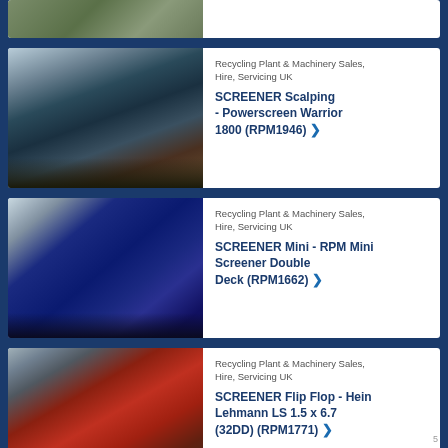[Figure (photo): Partial top card showing a piece of machinery or landscape, cropped at top of page]
Recycling Plant & Machinery Sales, Hire, Servicing UK
SCREENER Scalping - Powerscreen Warrior 1800 (RPM1946)
[Figure (photo): Blue Powerscreen Warrior 1800 scalping screener machine on a gravel site]
Recycling Plant & Machinery Sales, Hire, Servicing UK
SCREENER Mini - RPM Mini Screener Double Deck (RPM1662)
[Figure (photo): Blue RPM Mini Screener Double Deck machine on a yard]
Recycling Plant & Machinery Sales, Hire, Servicing UK
SCREENER Flip Flop - Hein Lehmann LS 1.5 x 6.7 (32DD) (RPM1771)
[Figure (photo): Red Hein Lehmann Flip Flop screener inside a industrial building]
5